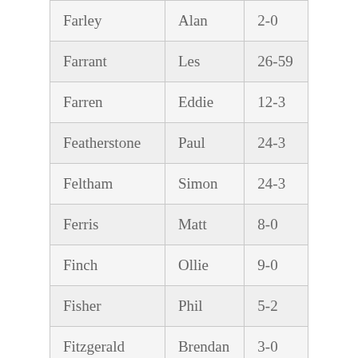| Farley | Alan | 2-0 |
| Farrant | Les | 26-59 |
| Farren | Eddie | 12-3 |
| Featherstone | Paul | 24-3 |
| Feltham | Simon | 24-3 |
| Ferris | Matt | 8-0 |
| Finch | Ollie | 9-0 |
| Fisher | Phil | 5-2 |
| Fitzgerald | Brendan | 3-0 |
| Fitzgerald | John | 8-1 |